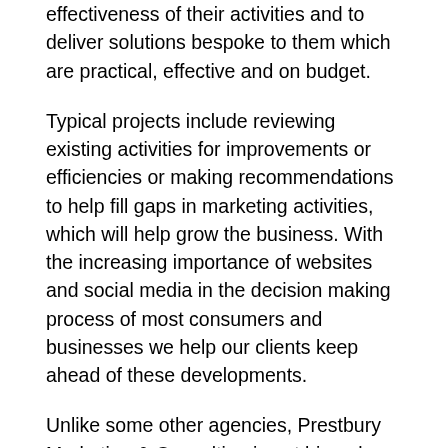effectiveness of their activities and to deliver solutions bespoke to them which are practical, effective and on budget.
Typical projects include reviewing existing activities for improvements or efficiencies or making recommendations to help fill gaps in marketing activities, which will help grow the business. With the increasing importance of websites and social media in the decision making process of most consumers and businesses we help our clients keep ahead of these developments.
Unlike some other agencies, Prestbury Marketing & Consulting is not biased towards any particular media or service. This means that in each and every instance, recommendations will be designed around the client's needs and not